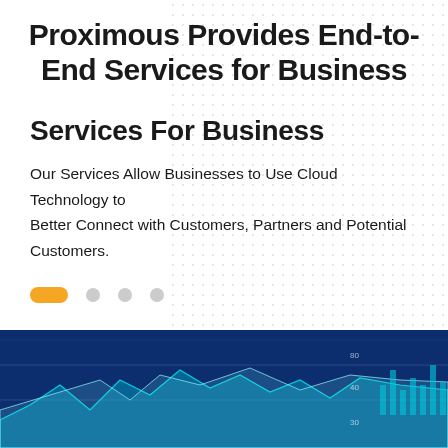Proximous Provides End-to-End Services for Business
Services For Business
Our Services Allow Businesses to Use Cloud Technology to Better Connect with Customers, Partners and Potential Customers.
[Figure (infographic): Pagination indicator with one orange pill-shaped dot and three grey circular dots]
[Figure (photo): Dark blue financial analytics dashboard showing area charts and bar charts with grid lines, labels 4k and 3k visible on y-axis]